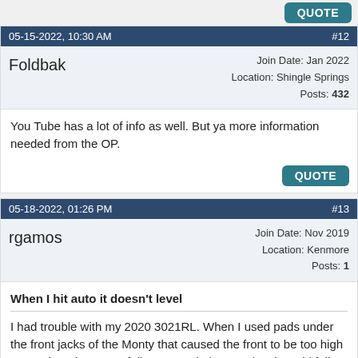QUOTE button at top
05-15-2022, 10:30 AM  #12
Foldbak
Join Date: Jan 2022
Location: Shingle Springs
Posts: 432
You Tube has a lot of info as well. But ya more information needed from the OP.
QUOTE
05-18-2022, 01:26 PM  #13
rgamos
Join Date: Nov 2019
Location: Kenmore
Posts: 1
When I hit auto it doesn't level
I had trouble with my 2020 3021RL. When I used pads under the front jacks of the Monty that caused the front to be too high even when they were fully retracted, the auto level would fail.
BCS